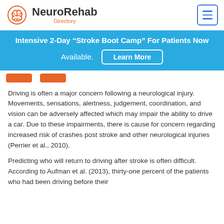[Figure (logo): NeuroRehab Directory logo with orange brain icon and text]
Intensive 2-Day “Stroke Boot Camp” For Patients Now Available. Learn More
Driving is often a major concern following a neurological injury. Movements, sensations, alertness, judgement, coordination, and vision can be adversely affected which may impair the ability to drive a car. Due to these impairments, there is cause for concern regarding increased risk of crashes post stroke and other neurological injuries (Perrier et al., 2010).
Predicting who will return to driving after stroke is often difficult. According to Aufman et al. (2013), thirty-one percent of the patients who had been driving before their